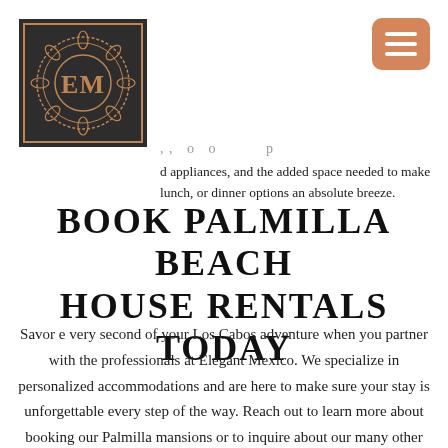[Figure (logo): Elegant Mexico logo: dark square frame with ornate circular floral border containing the letters EM in serif font, copper/orange color on dark gray background]
[Figure (other): Hamburger menu button, orange/salmon rounded rectangle with three white horizontal lines]
d appliances, and the added space needed to make lunch, or dinner options an absolute breeze.
BOOK PALMILLA BEACH HOUSE RENTALS TODAY
Savor every second of your Los Cabos adventure when you partner with the professionals at Elegant Mexico. We specialize in personalized accommodations and are here to make sure your stay is unforgettable every step of the way. Reach out to learn more about booking our Palmilla mansions or to inquire about our many other exciting and unsurpassed property options in the area. We'll handle all of the details so that by the time you arrive in town, the